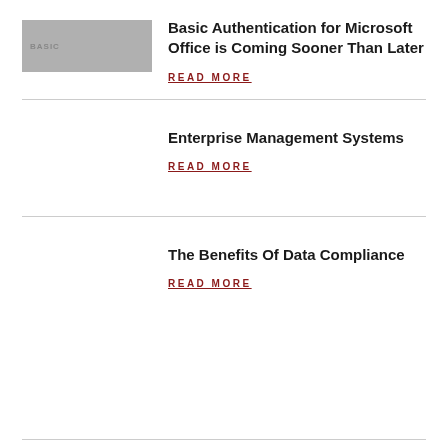[Figure (photo): Thumbnail image placeholder with 'BASIC' label]
Basic Authentication for Microsoft Office is Coming Sooner Than Later
READ MORE
Enterprise Management Systems
READ MORE
The Benefits Of Data Compliance
READ MORE